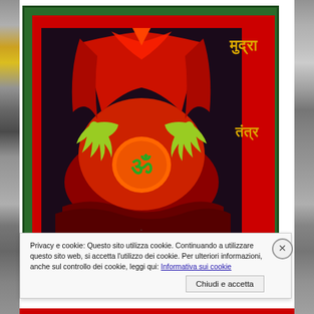[Figure (illustration): Book cover with green border and red background. Center shows a tantric/mandala style illustration with red draped figures, a central Om symbol in green/orange circle, and yellow-green hand gestures. Right side has Hindi/Devanagari text in gold: मुद्रा (top) and तंत्र (bottom). Bottom text reads 'Fondazione M' in monospace font on red background.]
Privacy e cookie: Questo sito utilizza cookie. Continuando a utilizzare questo sito web, si accetta l'utilizzo dei cookie. Per ulteriori informazioni, anche sul controllo dei cookie, leggi qui: Informativa sui cookie
Chiudi e accetta